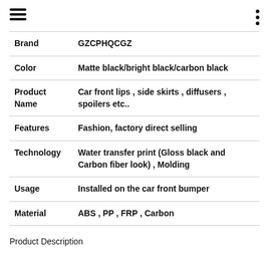≡  ⋮
|  |  |
| --- | --- |
| Brand | GZCPHQCGZ |
| Color | Matte black/bright black/carbon black |
| Product Name | Car front lips , side skirts , diffusers , spoilers etc.. |
| Features | Fashion, factory direct selling |
| Technology | Water transfer print (Gloss black and Carbon fiber look) , Molding |
| Usage | Installed on the car front bumper |
| Material | ABS , PP , FRP , Carbon |
Product Description